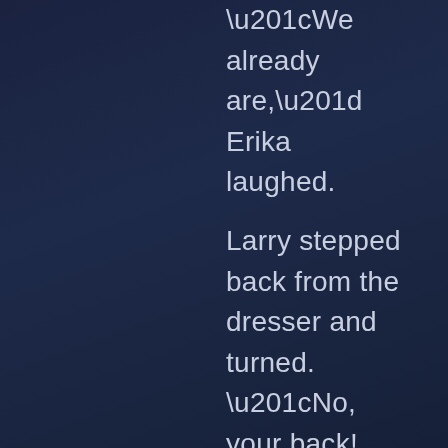“We already are,” Erika laughed.

Larry stepped back from the dresser and turned. “No, your back! We have to stop!”

Erika pouted. “Oh, but you were getting so